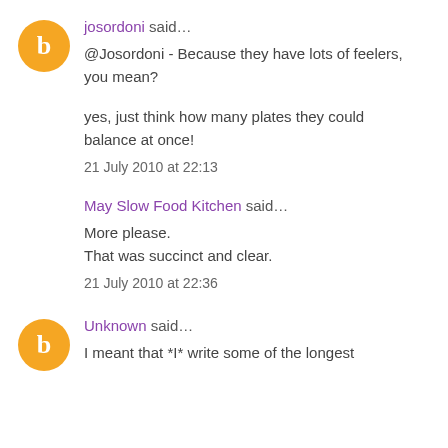josordoni said…
@Josordoni - Because they have lots of feelers, you mean?
yes, just think how many plates they could balance at once!
21 July 2010 at 22:13
May Slow Food Kitchen said…
More please.
That was succinct and clear.
21 July 2010 at 22:36
Unknown said…
I meant that *I* write some of the longest